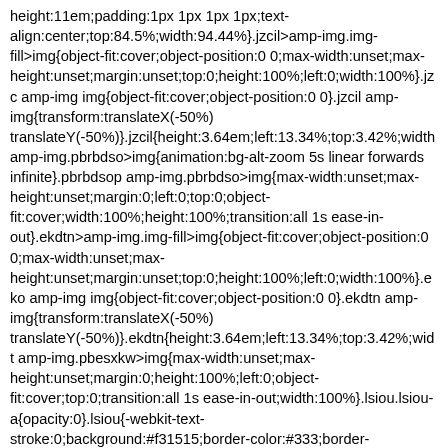height:11em;padding:1px 1px 1px 1px;text-align:center;top:84.5%;width:94.44%}.jzcil>amp-img.img-fill>img{object-fit:cover;object-position:0 0;max-width:unset;max-height:unset;margin:unset;top:0;height:100%;left:0;width:100%}.jzc amp-img img{object-fit:cover;object-position:0 0}.jzcil amp-img{transform:translateX(-50%) translateY(-50%)}.jzcil{height:3.64em;left:13.34%;top:3.42%;width amp-img.pbrbdso>img{animation:bg-alt-zoom 5s linear forwards infinite}.pbrbdsop amp-img.pbrbdso>img{max-width:unset;max-height:unset;margin:0;left:0;top:0;object-fit:cover;width:100%;height:100%;transition:all 1s ease-in-out}.ekdtn>amp-img.img-fill>img{object-fit:cover;object-position:0 0;max-width:unset;max-height:unset;margin:unset;top:0;height:100%;left:0;width:100%}.ekd amp-img img{object-fit:cover;object-position:0 0}.ekdtn amp-img{transform:translateX(-50%) translateY(-50%)}.ekdtn{height:3.64em;left:13.34%;top:3.42%;widt amp-img.pbesxkw>img{max-width:unset;max-height:unset;margin:0;height:100%;left:0;object-fit:cover;top:0;transition:all 1s ease-in-out;width:100%}.lsiou.lsiou-a{opacity:0}.lsiou{-webkit-text-stroke:0;background:#f31515;border-color:#333;border-style:solid;border-width:3px 3px 3px 3px;box-shadow:0 0 4px 0 #fcda12;color:#fff2f2;font-family:Allerta;font-size:1.78em;font-weight:700;left:13.33%;letter-spacing:.12em;line-